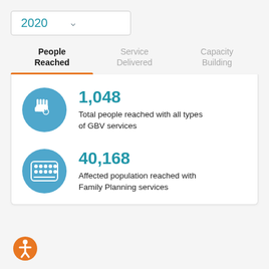2020
People Reached | Service Delivered | Capacity Building
[Figure (infographic): Statistic: 1,048 Total people reached with all types of GBV services, with hand/GBV icon]
1,048 Total people reached with all types of GBV services
[Figure (infographic): Statistic: 40,168 Affected population reached with Family Planning services, with pills icon]
40,168 Affected population reached with Family Planning services